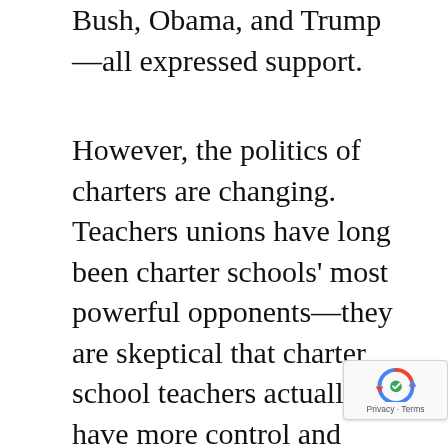Bush, Obama, and Trump—all expressed support.
However, the politics of charters are changing. Teachers unions have long been charter schools' most powerful opponents—they are skeptical that charter school teachers actually have more control and frustrated that only 11% of charter schools employ unionized teachers. More generally, support is splintering along party lines as Democrats—especially white progressives—have become increasingly opposed. Some of this polarization predates the Trump administration. For example, many prominent Democrats, including Senators Elizabeth Warren and Bernie Sanders, opposed a 2016
[Figure (other): reCAPTCHA badge with spinning arrows icon and 'Privacy - Terms' text]